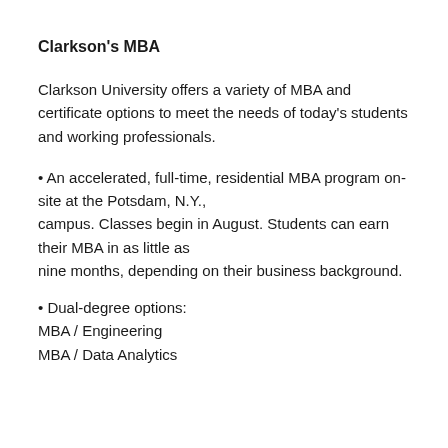Clarkson's MBA
Clarkson University offers a variety of MBA and certificate options to meet the needs of today's students and working professionals.
• An accelerated, full-time, residential MBA program on-site at the Potsdam, N.Y., campus. Classes begin in August. Students can earn their MBA in as little as nine months, depending on their business background.
• Dual-degree options:
MBA / Engineering
MBA / Data Analytics